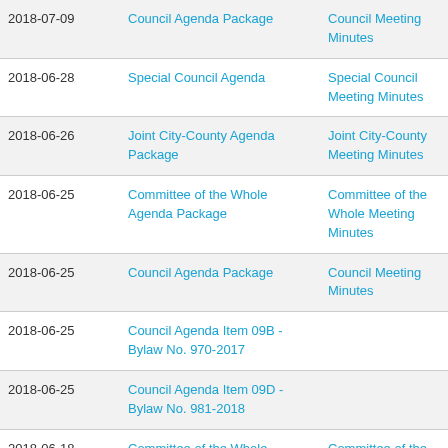| Date | Agenda | Minutes |
| --- | --- | --- |
| 2018-07-09 | Council Agenda Package | Council Meeting Minutes |
| 2018-06-28 | Special Council Agenda | Special Council Meeting Minutes |
| 2018-06-26 | Joint City-County Agenda Package | Joint City-County Meeting Minutes |
| 2018-06-25 | Committee of the Whole Agenda Package | Committee of the Whole Meeting Minutes |
| 2018-06-25 | Council Agenda Package | Council Meeting Minutes |
| 2018-06-25 | Council Agenda Item 09B - Bylaw No. 970-2017 |  |
| 2018-06-25 | Council Agenda Item 09D - Bylaw No. 981-2018 |  |
| 2018-06-18 | Committee of the Whole Agenda Package | Committee of the Whole Meeting Minutes |